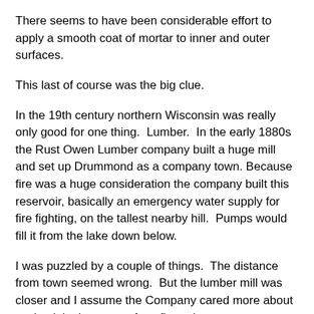There seems to have been considerable effort to apply a smooth coat of mortar to inner and outer surfaces.
This last of course was the big clue.
In the 19th century northern Wisconsin was really only good for one thing.  Lumber.  In the early 1880s the Rust Owen Lumber company built a huge mill and set up Drummond as a company town. Because fire was a huge consideration the company built this reservoir, basically an emergency water supply for fire fighting, on the tallest nearby hill.  Pumps would fill it from the lake down below.
I was puzzled by a couple of things.  The distance from town seemed wrong.  But the lumber mill was closer and I assume the Company cared more about saving it in the event of conflagration.
Also, where are the pipes?  I found a source that describes water being pumped up the hill from the lake to fill the reservoir.  But for fire fighting purposes they had hydrants set